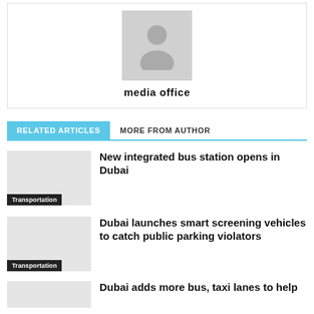[Figure (photo): Gray placeholder avatar image with silhouette of a person]
media office
RELATED ARTICLES   MORE FROM AUTHOR
New integrated bus station opens in Dubai
Transportation
Dubai launches smart screening vehicles to catch public parking violators
Transportation
Dubai adds more bus, taxi lanes to help